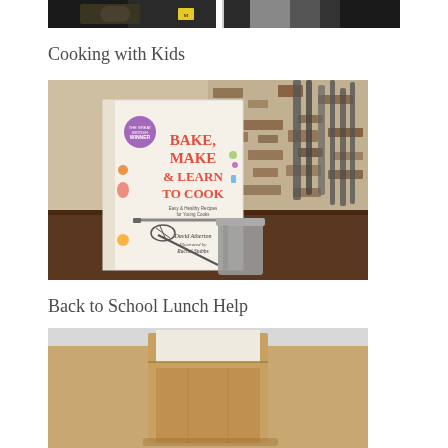[Figure (photo): Top strip of cropped images showing food/cooking scenes]
Cooking with Kids
[Figure (photo): Photo of the book 'Bake, Make & Learn to Cook' by David Atherton, illustrated by Rachel Stubbs, displayed on a kitchen counter with a whisk and kitchen utensils in the background. The book cover shows colorful food illustrations and a 'Winner' badge.]
Back to School Lunch Help
[Figure (photo): Photo showing a brown paper lunch bag with what appears to be a white paper or napkin inside, partially cut off at the bottom of the page]